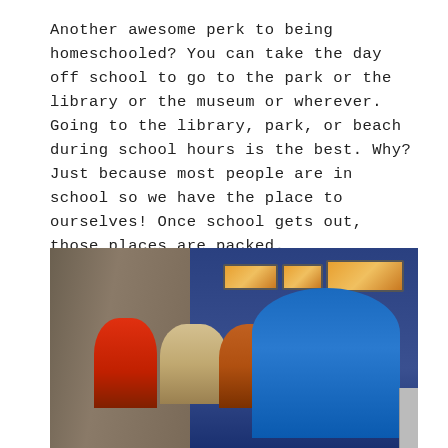Another awesome perk to being homeschooled? You can take the day off school to go to the park or the library or the museum or wherever. Going to the library, park, or beach during school hours is the best. Why? Just because most people are in school so we have the place to ourselves! Once school gets out, those places are packed. Going to the aquarium? That was a field trip. And a fun one at that!
[Figure (photo): Photo of an adult in a blue shirt and cap leaning over a tank with three children at what appears to be an aquarium. Background shows a blue wall with illuminated display screens and a rocky wall on the left.]